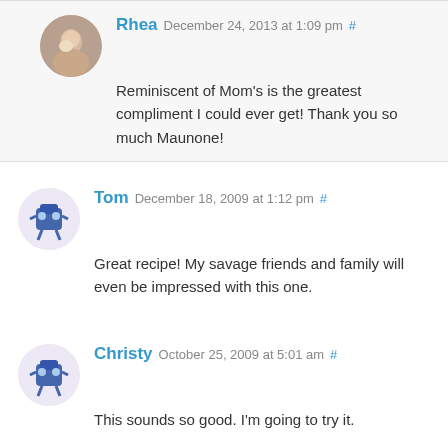Rhea December 24, 2013 at 1:09 pm # — Reminiscent of Mom's is the greatest compliment I could ever get! Thank you so much Maunone!
Tom December 18, 2009 at 1:12 pm # — Great recipe! My savage friends and family will even be impressed with this one.
Christy October 25, 2009 at 5:01 am # — This sounds so good. I'm going to try it.